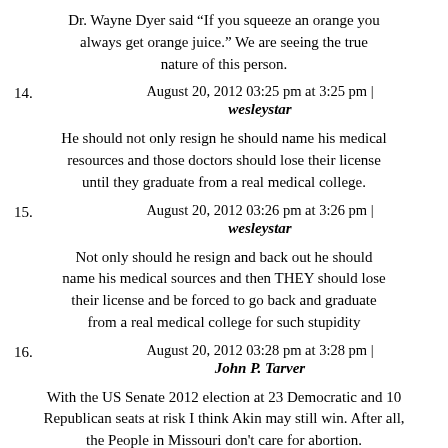Dr. Wayne Dyer said “If you squeeze an orange you always get orange juice.” We are seeing the true nature of this person.
August 20, 2012 03:25 pm at 3:25 pm |
wesleystar
He should not only resign he should name his medical resources and those doctors should lose their license until they graduate from a real medical college.
August 20, 2012 03:26 pm at 3:26 pm |
wesleystar
Not only should he resign and back out he should name his medical sources and then THEY should lose their license and be forced to go back and graduate from a real medical college for such stupidity
August 20, 2012 03:28 pm at 3:28 pm |
John P. Tarver
With the US Senate 2012 election at 23 Democratic and 10 Republican seats at risk I think Akin may still win. After all, the People in Missouri don't care for abortion.